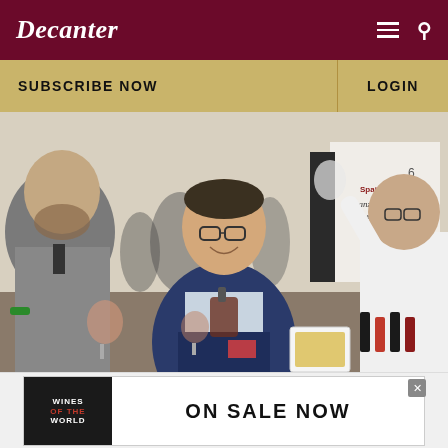Decanter
SUBSCRIBE NOW
LOGIN
[Figure (photo): Wine tasting event scene: a man in a navy blazer and checked shirt holds a decanter of red wine and a wine glass, smiling. To his left is a bearded man in a grey suit. To his right, another person pours or holds a glass up. Background shows an exhibition hall with the Altanza Rioja wine booth visible, with wine bottles and other attendees.]
[Figure (photo): Advertisement banner: 'WINES OF THE WORLD' book/magazine cover on left side with dark background, and text 'ON SALE NOW' in large bold letters on the right.]